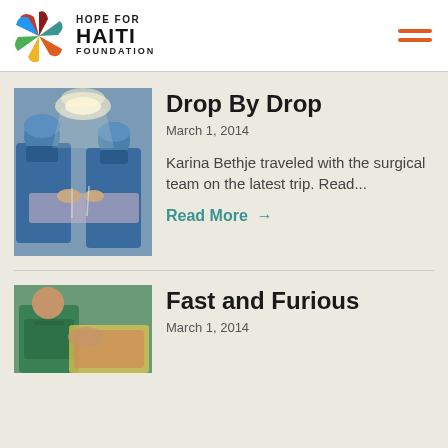HOPE FOR HAITI FOUNDATION
[Figure (photo): Two surgeons in blue scrubs and masks performing a surgical procedure under bright operating lights]
Drop By Drop
March 1, 2014
Karina Bethje traveled with the surgical team on the latest trip. Read...
Read More →
[Figure (photo): Medical worker in green scrubs holding a patient]
Fast and Furious
March 1, 2014